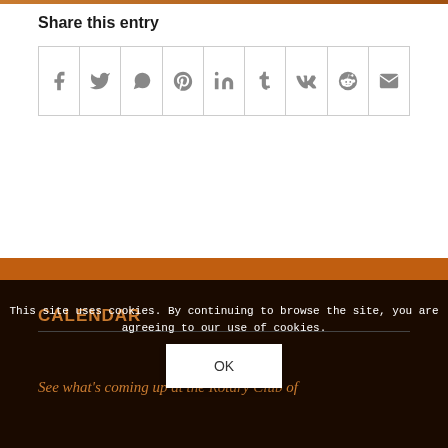Share this entry
[Figure (other): Social media share icons row: Facebook, Twitter, WhatsApp, Pinterest, LinkedIn, Tumblr, VK, Reddit, Email]
CALENDAR
See what's coming up at the Rotary Club of
This site uses cookies. By continuing to browse the site, you are agreeing to our use of cookies.
OK